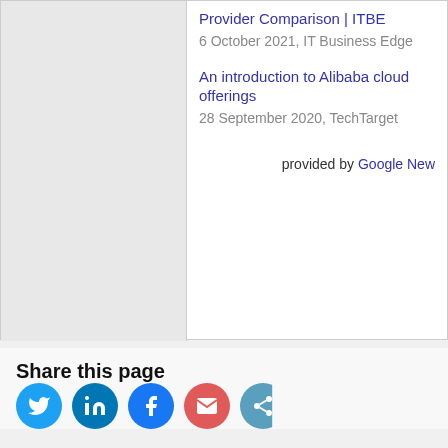Provider Comparison | ITBE
6 October 2021, IT Business Edge
An introduction to Alibaba cloud offerings
28 September 2020, TechTarget
provided by Google News
Share this page
[Figure (other): Social media sharing icons: Twitter, LinkedIn, Facebook, Email, Share (partially visible)]